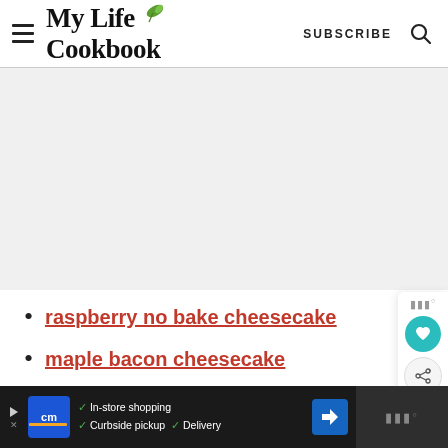My Life Cookbook | SUBSCRIBE
[Figure (other): Large advertisement or blank content area, light gray background]
raspberry no bake cheesecake
maple bacon cheesecake
[Figure (other): Bottom advertisement banner: CM logo, In-store shopping, Curbside pickup, Delivery, navigation arrow icon]